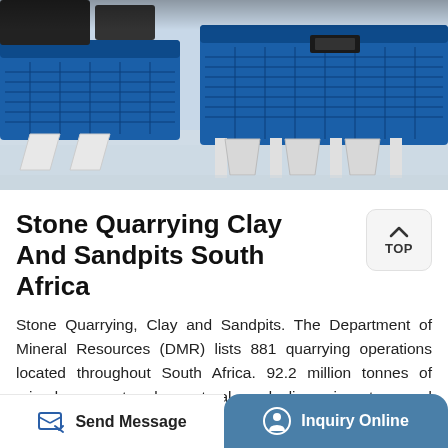[Figure (photo): Industrial quarrying/screening machine equipment (blue and white) on a factory floor, viewed from a low angle showing the machine's frame and hoppers.]
Stone Quarrying Clay And Sandpits South Africa
Stone Quarrying, Clay and Sandpits. The Department of Mineral Resources (DMR) lists 881 quarrying operations located throughout South Africa. 92.2 million tonnes of mined aggregate, clay, natural sand, dimension stone and limestone to the value of R9.4bn was sold locally during 2016 while the value of exports of quarry products
Send Message   Inquiry Online